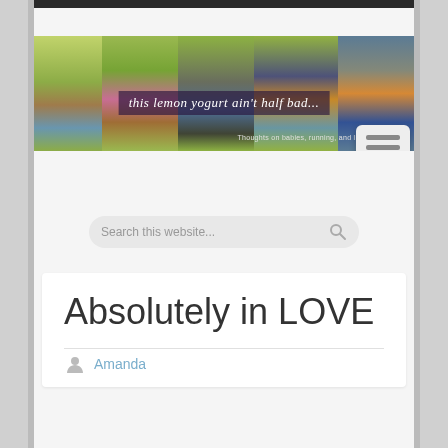[Figure (photo): Banner photo showing five children standing in front of green doors, wearing backpacks, presumably for back-to-school. Text overlay reads 'this lemon yogurt ain't half bad...' with subtitle 'Thoughts on babies, running, and life in general.' A menu/hamburger icon is visible bottom right.]
Search this website...
Absolutely in LOVE
Amanda